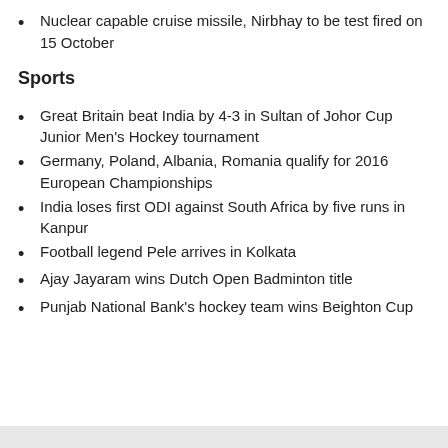Nuclear capable cruise missile, Nirbhay to be test fired on 15 October
Sports
Great Britain beat India by 4-3 in Sultan of Johor Cup Junior Men's Hockey tournament
Germany, Poland, Albania, Romania qualify for 2016 European Championships
India loses first ODI against South Africa by five runs in Kanpur
Football legend Pele arrives in Kolkata
Ajay Jayaram wins Dutch Open Badminton title
Punjab National Bank's hockey team wins Beighton Cup